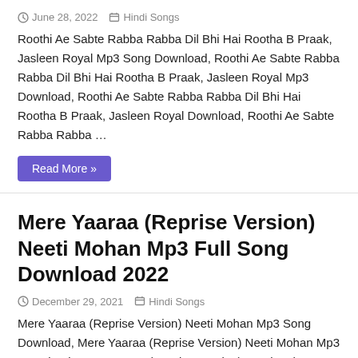June 28, 2022 | Hindi Songs
Roothi Ae Sabte Rabba Rabba Dil Bhi Hai Rootha B Praak, Jasleen Royal Mp3 Song Download, Roothi Ae Sabte Rabba Rabba Dil Bhi Hai Rootha B Praak, Jasleen Royal Mp3 Download, Roothi Ae Sabte Rabba Rabba Dil Bhi Hai Rootha B Praak, Jasleen Royal Download, Roothi Ae Sabte Rabba Rabba …
Read More »
Mere Yaaraa (Reprise Version) Neeti Mohan Mp3 Full Song Download 2022
December 29, 2021 | Hindi Songs
Mere Yaaraa (Reprise Version) Neeti Mohan Mp3 Song Download, Mere Yaaraa (Reprise Version) Neeti Mohan Mp3 Download, Mere Yaaraa (Reprise Version) Neeti Mohan Download, Mere Yaaraa (Reprise Version) Neeti Mohan Full Mp3 Song Download , Mere Yaaraa (Reprise Version) Neeti Mohan High Quality 320kbps Song Download Pagalworld, Pagalsongs, Mr-jatt, Rag-fm …
Read More »